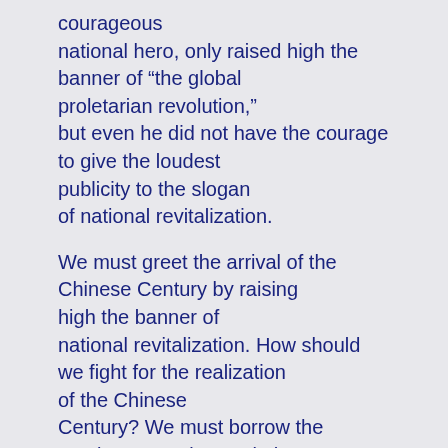courageous national hero, only raised high the banner of “the global proletarian revolution,” but even he did not have the courage to give the loudest publicity to the slogan of national revitalization.
We must greet the arrival of the Chinese Century by raising high the banner of national revitalization. How should we fight for the realization of the Chinese Century? We must borrow the precious experiences in human history by taking advantage of the outstanding fruition of human civilization and drawing lessons from what happened to other ethnic groups.
The lessons include the collapse of communism in the former Soviet Union and